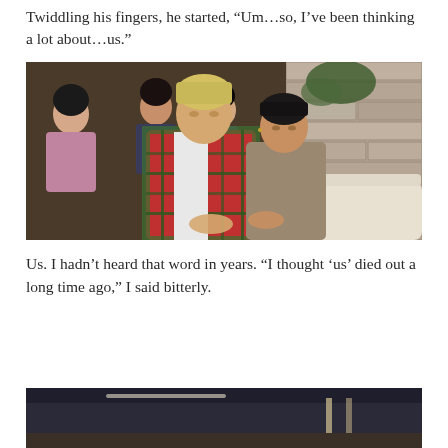Twiddling his fingers, he started, “Um…so, I’ve been thinking a lot about…us.”
[Figure (screenshot): A Sims 4 screenshot showing two male characters sitting together. One has blonde hair and wears a red plaid flannel shirt over a white tee; the other has dark hair and wears a tan/brown sweater. Several other Sims characters are visible in the background near a stone brick wall.]
Us. I hadn’t heard that word in years. “I thought ‘us’ died out a long time ago,” I said bitterly.
[Figure (screenshot): Partial view of another Sims 4 screenshot at the bottom of the page, showing interior scene.]